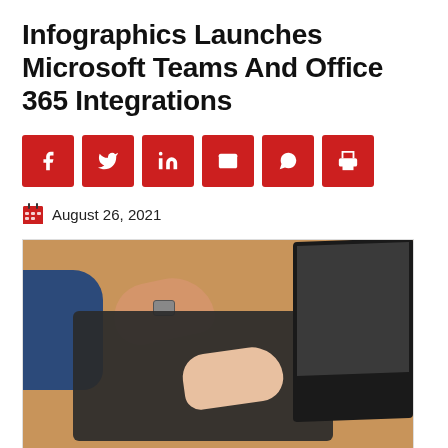Infographics Launches Microsoft Teams And Office 365 Integrations
[Figure (infographic): Six red square social media sharing buttons: Facebook, Twitter, LinkedIn, Email, WhatsApp, Print]
August 26, 2021
[Figure (photo): Overhead photo of two hands typing on a black keyboard on a wooden desk, with a monitor visible on the right side, and a blue suited sleeve on the left.]